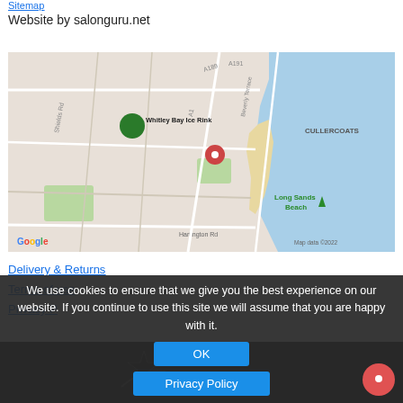Sitemap
Website by salonguru.net
[Figure (map): Google Maps screenshot showing Whitley Bay area with a red location pin near Cullercoats. Shows streets including A191, Shields Rd, Hartington Rd, Beverly Terrace. Landmarks include Whitley Bay Ice Rink (green pin) and Long Sands Beach. Map data ©2022.]
Delivery & Returns
Terms of use
Privacy P...
We use cookies to ensure that we give you the best experience on our website. If you continue to use this site we will assume that you are happy with it.
OK
Privacy Policy